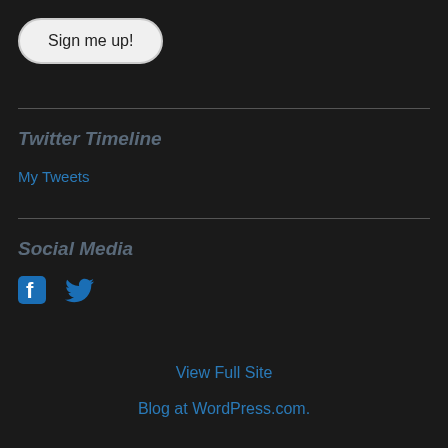Sign me up!
Twitter Timeline
My Tweets
Social Media
[Figure (illustration): Facebook and Twitter social media icons in blue]
View Full Site
Blog at WordPress.com.